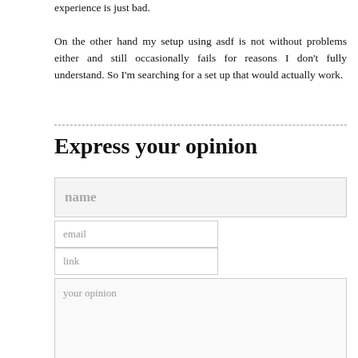experience is just bad.

On the other hand my setup using asdf is not without problems either and still occasionally fails for reasons I don't fully understand. So I'm searching for a set up that would actually work.
Express your opinion
[Figure (other): Web form with fields for name, email, link, and your opinion (textarea)]